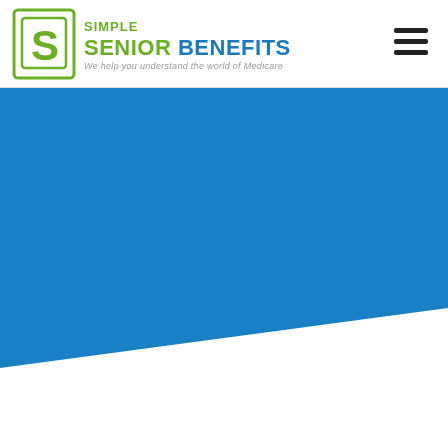[Figure (logo): Simple Senior Benefits logo with green stylized SB shield icon, green text SIMPLE SENIOR and blue text BENEFITS, tagline: We help you understand the world of Medicare]
[Figure (other): Hamburger menu icon (three horizontal black lines) in top right corner]
[Figure (other): Large solid blue (#1a7abf) diagonal banner/hero section filling most of the page below the header, with a diagonal cut at the bottom-right revealing white background]